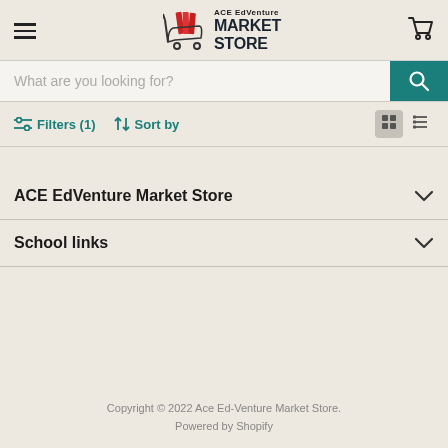ACE EdVenture MARKET STORE
What are you looking for?
Filters (1)  Sort by
ACE EdVenture Market Store
School links
Copyright © 2022 Ace Ed-Venture Market Store.
Powered by Shopify